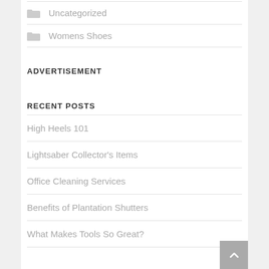Uncategorized
Womens Shoes
ADVERTISEMENT
RECENT POSTS
High Heels 101
Lightsaber Collector's Items
Office Cleaning Services
Benefits of Plantation Shutters
What Makes Tools So Great?